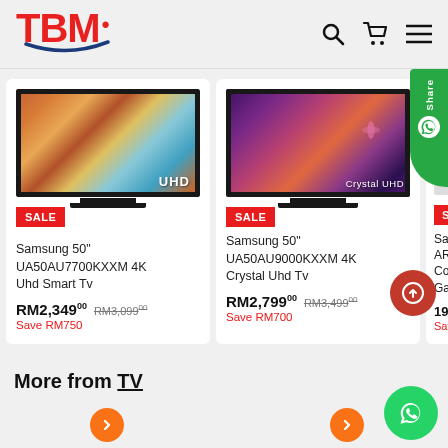TBM
[Figure (photo): Samsung 50 inch TV with UHD display showing colorful abstract image]
SALE
Samsung 50" UA50AU7700KXXM 4K Uhd Smart Tv
RM2,34900  RM3,09900  Save RM750
[Figure (photo): Samsung 50 inch Crystal UHD TV with purple/orange display]
SALE
Samsung 50" UA50AU9000KXXM 4K Crystal Uhd Tv
RM2,79900  RM3,49900  Save RM700
More from TV